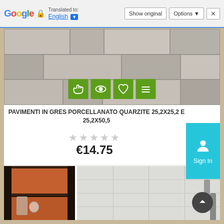Google Translated to: English | Show original | Options | ×
[Figure (photo): Grey stone/concrete tile flooring displayed as a product image with four green icon buttons overlaid at the bottom (hand/touch, eye/view, heart/favorite, menu/list icons)]
PAVIMENTI IN GRES PORCELLANATO QUARZITE 25,2X25,2 E 25,2X50,5
★★★★★ (empty star rating)
€14.75
[Figure (photo): Brown/orange shelving unit with dark frame and ceramic/porcelain tiles, with glass items on shelf]
[Figure (photo): White/light textured tile wall with metal tap/faucet handles visible]